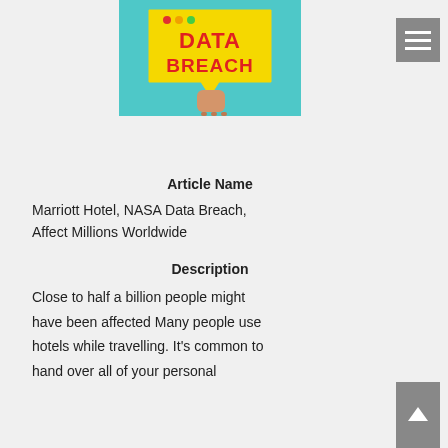[Figure (photo): Hand holding a yellow speech bubble sign that reads 'DATA BREACH' in red letters, against a teal/blue background. Small red and green dots at top of the sign like a dialog box.]
Article Name
Marriott Hotel, NASA Data Breach, Affect Millions Worldwide
Description
Close to half a billion people might have been affected Many people use hotels while travelling. It's common to hand over all of your personal